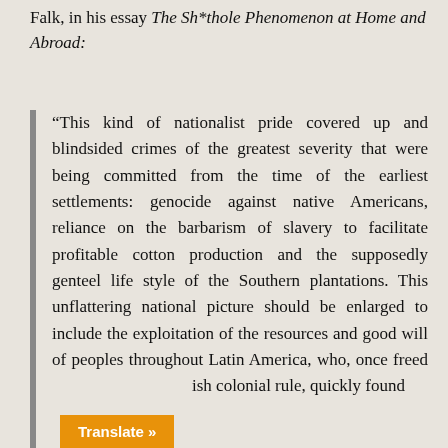Falk, in his essay The Sh*thole Phenomenon at Home and Abroad:
“This kind of nationalist pride covered up and blindsided crimes of the greatest severity that were being committed from the time of the earliest settlements: genocide against native Americans, reliance on the barbarism of slavery to facilitate profitable cotton production and the supposedly genteel life style of the Southern plantations. This unflattering national picture should be enlarged to include the exploitation of the resources and good will of peoples throughout Latin America, who, once freed [from Span]ish colonial rule, quickly found